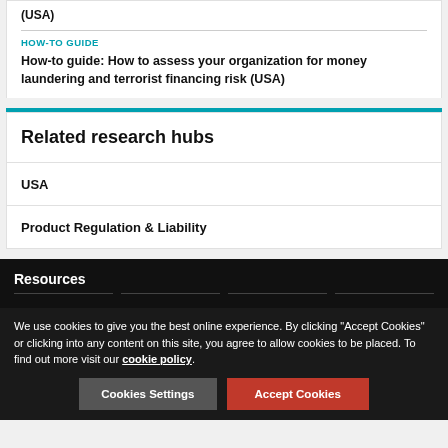(USA)
HOW-TO GUIDE
How-to guide: How to assess your organization for money laundering and terrorist financing risk (USA)
Related research hubs
USA
Product Regulation & Liability
Resources
We use cookies to give you the best online experience. By clicking "Accept Cookies" or clicking into any content on this site, you agree to allow cookies to be placed. To find out more visit our cookie policy.